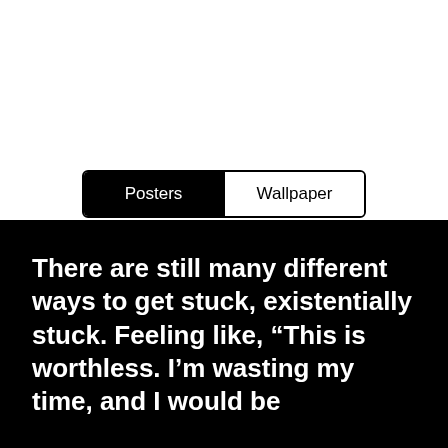[Figure (screenshot): Tab bar UI with two tabs: 'Posters' (active, black background) and 'Wallpaper' (inactive, white background), with a rounded border]
There are still many different ways to get stuck, existentially stuck. Feeling like, “This is worthless. I’m wasting my time, and I would be